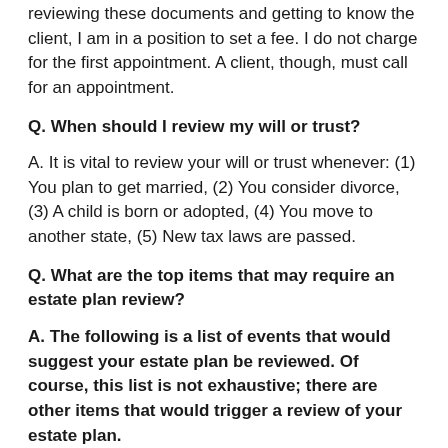reviewing these documents and getting to know the client, I am in a position to set a fee. I do not charge for the first appointment. A client, though, must call for an appointment.
Q. When should I review my will or trust?
A. It is vital to review your will or trust whenever: (1) You plan to get married, (2) You consider divorce, (3) A child is born or adopted, (4) You move to another state, (5) New tax laws are passed.
Q. What are the top items that may require an estate plan review?
A. The following is a list of events that would suggest your estate plan be reviewed. Of course, this list is not exhaustive; there are other items that would trigger a review of your estate plan.